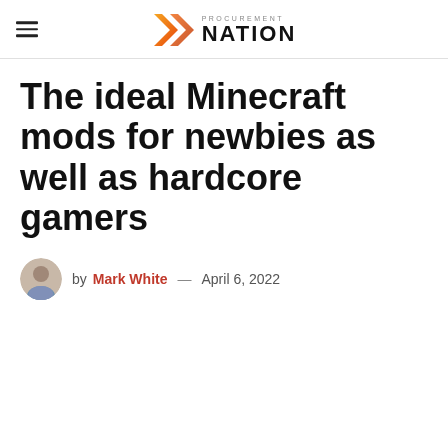PROCUREMENT NATION
The ideal Minecraft mods for newbies as well as hardcore gamers
by Mark White — April 6, 2022